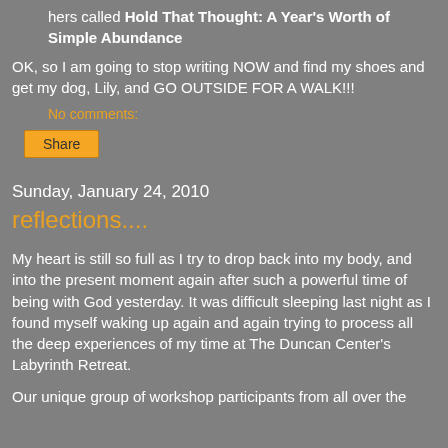hers called Hold That Thought: A Year's Worth of Simple Abundance
OK, so I am going to stop writing NOW and find my shoes and get my dog, Lily, and GO OUTSIDE FOR A WALK!!!
No comments:
Share
Sunday, January 24, 2010
reflections....
My heart is still so full as I try to drop back into my body, and into the present moment again after such a powerful time of being with God yesterday. It was difficult sleeping last night as I found myself waking up again and again trying to process all the deep experiences of my time at The Duncan Center's Labyrinth Retreat.
Our unique group of workshop participants from all over the